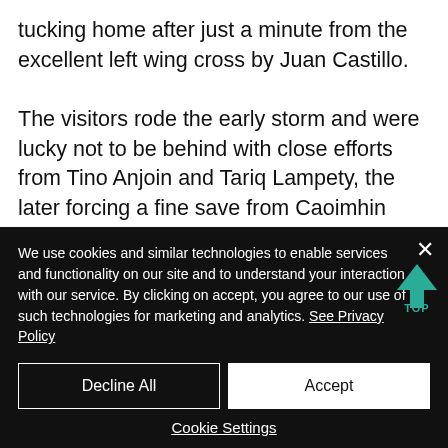tucking home after just a minute from the excellent left wing cross by Juan Castillo.
The visitors rode the early storm and were lucky not to be behind with close efforts from Tino Anjoin and Tariq Lampety, the later forcing a fine save from Caoimhin Kelleher on 16 minutes.
The visitors rode the early storm and
[Figure (other): Teal upward arrow with 'TOP' text label, a scroll-to-top button overlay on the article page]
We use cookies and similar technologies to enable services and functionality on our site and to understand your interaction with our service. By clicking on accept, you agree to our use of such technologies for marketing and analytics. See Privacy Policy
Decline All
Accept
Cookie Settings